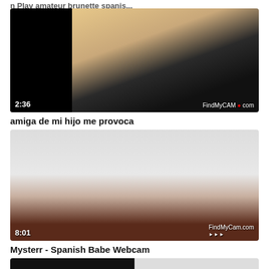n Play amateur brunette spanis...
[Figure (screenshot): Video thumbnail of a woman in black clothing, dark background on left side, duration 2:36, watermark FindMyCAM.com]
amiga de mi hijo me provoca
[Figure (screenshot): Video thumbnail of a woman in black lingerie, light background with pillow, duration 8:01, watermark FindMyCam.com]
Mysterr - Spanish Babe Webcam
[Figure (screenshot): Video thumbnail partially visible at bottom, dark/light split]